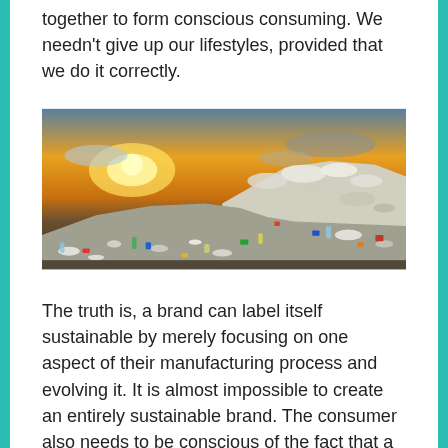together to form conscious consuming. We needn't give up our lifestyles, provided that we do it correctly.
[Figure (photo): A massive landfill site overflowing with plastic waste and various discarded items, photographed at sunset with a golden yellow sky in the background.]
The truth is, a brand can label itself sustainable by merely focusing on one aspect of their manufacturing process and evolving it. It is almost impossible to create an entirely sustainable brand. The consumer also needs to be conscious of the fact that a face-value "eco-friendly" brand might also be